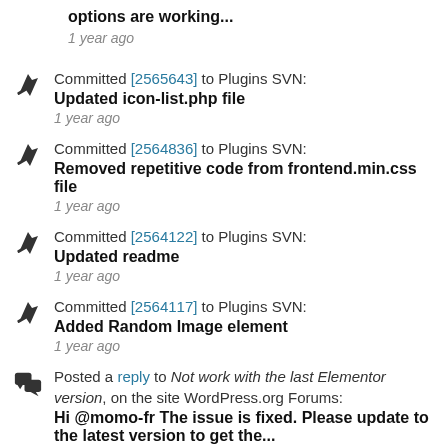options are working...
1 year ago
Committed [2565643] to Plugins SVN: Updated icon-list.php file
1 year ago
Committed [2564836] to Plugins SVN: Removed repetitive code from frontend.min.css file
1 year ago
Committed [2564122] to Plugins SVN: Updated readme
1 year ago
Committed [2564117] to Plugins SVN: Added Random Image element
1 year ago
Posted a reply to Not work with the last Elementor version, on the site WordPress.org Forums: Hi @momo-fr The issue is fixed. Please update to the latest version to get the...
1 year ago